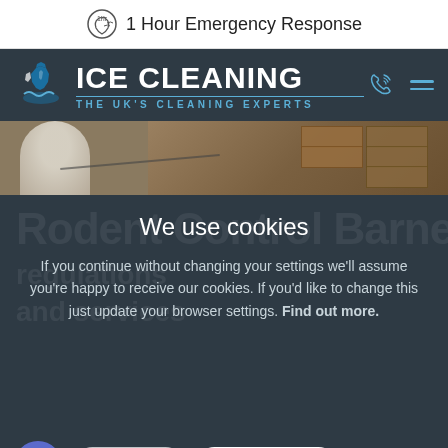1 Hour Emergency Response
[Figure (logo): Ice Cleaning logo with UK map graphic and tagline 'THE UK'S CLEANING EXPERTS']
[Figure (photo): Worker in white protective suit and mask in a warehouse with cardboard boxes]
We use cookies
If you continue without changing your settings we'll assume you're happy to receive our cookies. If you'd like to change this just update your browser settings. Find out more.
Rodent Control Barnet
Open 24/7
Okay. I got it.